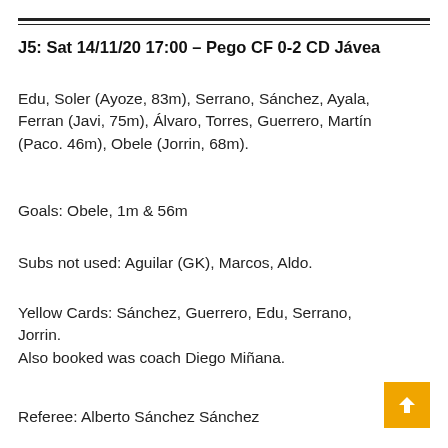J5: Sat 14/11/20 17:00 – Pego CF 0-2 CD Jávea
Edu, Soler (Ayoze, 83m), Serrano, Sánchez, Ayala, Ferran (Javi, 75m), Álvaro, Torres, Guerrero, Martín (Paco. 46m), Obele (Jorrin, 68m).
Goals: Obele, 1m & 56m
Subs not used: Aguilar (GK), Marcos, Aldo.
Yellow Cards: Sánchez, Guerrero, Edu, Serrano, Jorrin.
Also booked was coach Diego Miñana.
Referee: Alberto Sánchez Sánchez